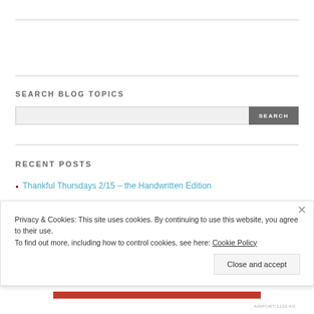SEARCH BLOG TOPICS
[Figure (other): Search input field with a gray SEARCH button]
RECENT POSTS
Thankful Thursdays 2/15 – the Handwritten Edition
Privacy & Cookies: This site uses cookies. By continuing to use this website, you agree to their use.
To find out more, including how to control cookies, see here: Cookie Policy
Close and accept
AIRPORT-1103-AG